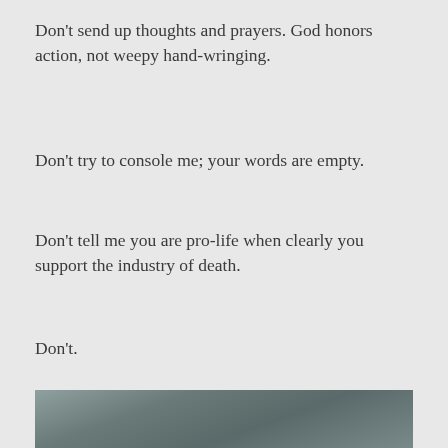Don't send up thoughts and prayers. God honors action, not weepy hand-wringing.
Don't try to console me; your words are empty.
Don't tell me you are pro-life when clearly you support the industry of death.
Don't.
https://www.usnews.com/news/best-states/tennessee/articles/2018-01-23/governor-1-dead-many-wounded-in-kentucky-school-shooting
[Figure (photo): Partial photo visible at bottom of page, appears to be a textured or outdoor scene in muted grey-green tones]